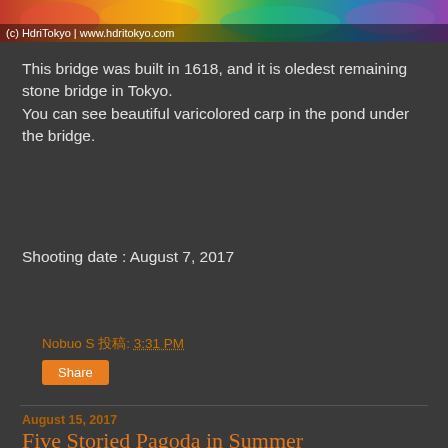[Figure (photo): Top banner image showing colorful photo (flowers/autumn leaves) with watermark text '(c) HdriTokyo | www.hdritokyo.com']
This bridge was built in 1618, and it is oledest remaining stone bridge in Tokyo.
You can see beautiful varicolored carp in the pond under the bridge.
Shooting date : August 7, 2017
Nobuo S 投稿: 3:31 PM
Share
August 15, 2017
Five Storied Pagoda in Summer
[Figure (photo): Partial image of a pagoda against a cloudy sky]